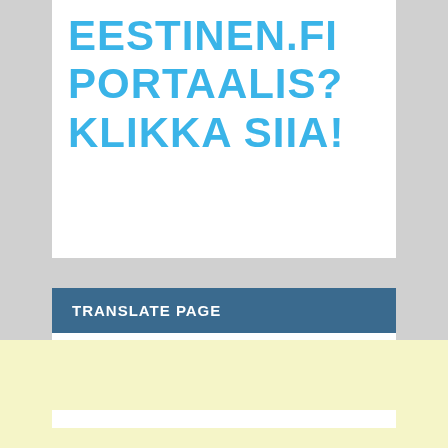EESTINEN.FI PORTAALIS? KLIKKA SIIA!
TRANSLATE PAGE
[Figure (screenshot): Language selector dropdown showing 'Select Language' with a chevron arrow, followed by 'Powered by Google Translate' branding text]